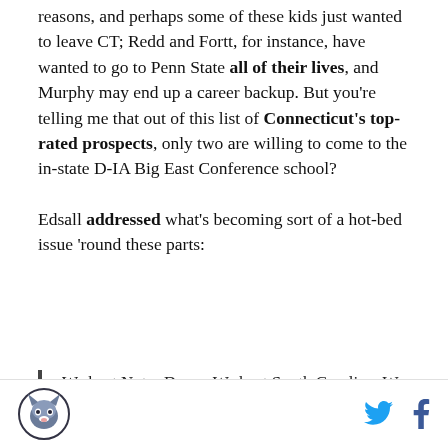reasons, and perhaps some of these kids just wanted to leave CT; Redd and Fortt, for instance, have wanted to go to Penn State all of their lives, and Murphy may end up a career backup. But you're telling me that out of this list of Connecticut's top-rated prospects, only two are willing to come to the in-state D-IA Big East Conference school?
Edsall addressed what's becoming sort of a hot-bed issue 'round these parts:
We beat Notre Dame. We beat South Carolina. We have a Big East championship but I tink sometimes it's tough to break the land of steady habits. It's tough to break some people's habits in terms of what their perception is but you would hope kids